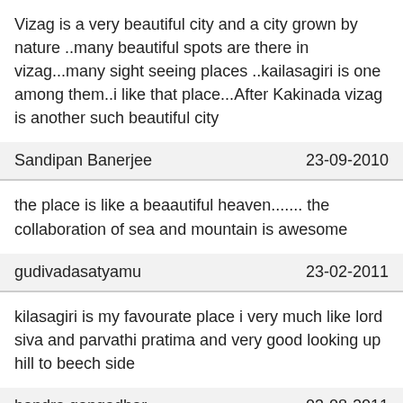Vizag is a very beautiful city and a city grown by nature ..many beautiful spots are there in vizag...many sight seeing places ..kailasagiri is one among them..i like that place...After Kakinada vizag is another such beautiful city
Sandipan Banerjee | 23-09-2010
the place is like a beaautiful heaven....... the collaboration of sea and mountain is awesome
gudivadasatyamu | 23-02-2011
kilasagiri is my favourate place i very much like lord siva and parvathi pratima and very good looking up hill to beech side
bandra gangadhar | 03-08-2011